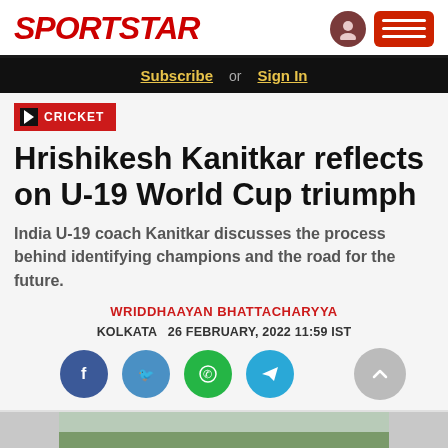SPORTSTAR
Subscribe or Sign In
CRICKET
Hrishikesh Kanitkar reflects on U-19 World Cup triumph
India U-19 coach Kanitkar discusses the process behind identifying champions and the road for the future.
WRIDDHAAYAN BHATTACHARYYA
KOLKATA  26 FEBRUARY, 2022 11:59 IST
[Figure (other): Social sharing buttons: Facebook, Twitter, WhatsApp, Telegram, and scroll-to-top button]
[Figure (photo): Partial photo of a cricket-related scene with greenery in background]